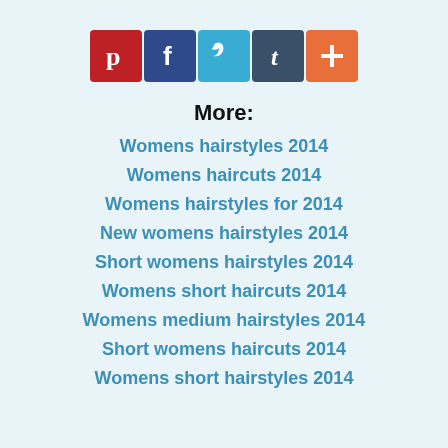[Figure (infographic): Row of 5 social media sharing icon buttons: Pinterest (red), Facebook (dark blue), Twitter (light blue), Tumblr (dark slate), and Google+ / More (orange)]
More:
Womens hairstyles 2014
Womens haircuts 2014
Womens hairstyles for 2014
New womens hairstyles 2014
Short womens hairstyles 2014
Womens short haircuts 2014
Womens medium hairstyles 2014
Short womens haircuts 2014
Womens short hairstyles 2014